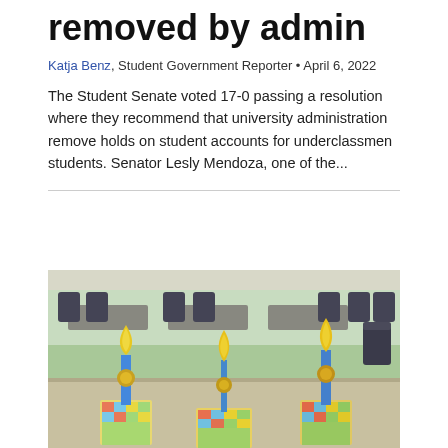removed by admin
Katja Benz, Student Government Reporter • April 6, 2022
The Student Senate voted 17-0 passing a resolution where they recommend that university administration remove holds on student accounts for underclassmen students. Senator Lesly Mendoza, one of the...
[Figure (photo): Three trophies with gold tops and blue shafts sitting on a table with colorful wrapped gift bags at their bases, in a cafeteria or dining hall setting with tables and dark chairs in the background.]